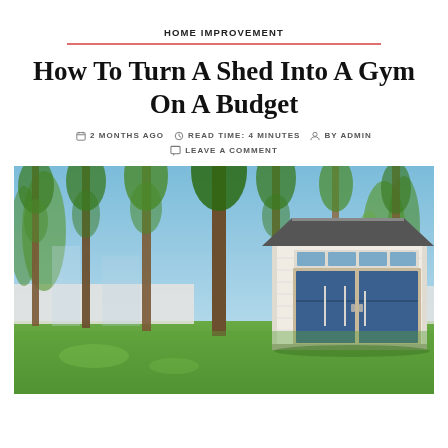HOME IMPROVEMENT
How To Turn A Shed Into A Gym On A Budget
2 MONTHS AGO   READ TIME: 4 MINUTES   BY ADMIN   LEAVE A COMMENT
[Figure (photo): A white shed with blue double doors set in a backyard with tall pine trees, green grass, and a white fence in the background.]